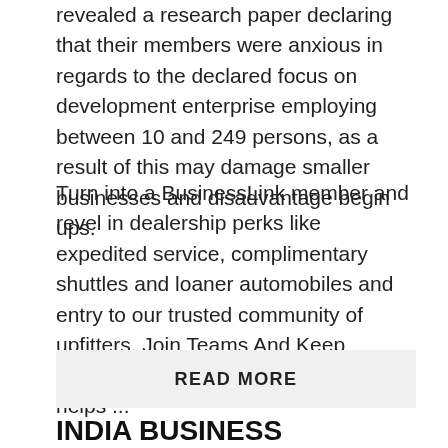revealed a research paper declaring that their members were anxious in regards to the declared focus on development enterprise employing between 10 and 249 persons, as a result of this may damage smaller businesses and disadvantage begin ups.
Turn into a BusinessLink member and revel in dealership perks like expedited service, complimentary shuttles and loaner automobiles and entry to our trusted community of upfitters. Join Teams And Keep Energetic: One other important tip that helps ...
READ MORE
INDIA BUSINESS INFORMATION, STOCK MARKET, PERSONAL FINANCE,